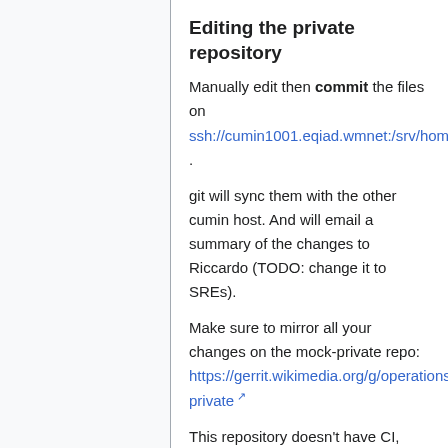Editing the private repository
Manually edit then commit the files on ssh://cumin1001.eqiad.wmnet:/srv/homer/private .
git will sync them with the other cumin host. And will email a summary of the changes to Riccardo (TODO: change it to SREs).
Make sure to mirror all your changes on the mock-private repo: https://gerrit.wikimedia.org/g/operations/homer/mock-private
This repository doesn't have CI, please be extra careful.
Editing the public repository
Similar to our other public repositories, send CRs to